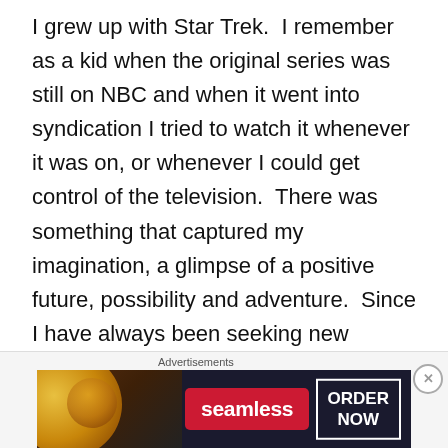I grew up with Star Trek.  I remember as a kid when the original series was still on NBC and when it went into syndication I tried to watch it whenever it was on, or whenever I could get control of the television.  There was something that captured my imagination, a glimpse of a positive future, possibility and adventure.  Since I have always been seeking new frontiers, note my career in the military, Star Trek, the Original Series was an inspiration.  Kirk, Spock, Scottie, McCoy, Uhura, Sulu, Chekov and Nurse Chapel became part of my life.  When not watching it I was reading Star Trek novels, something that I countinued with the Next Generation. I was fascinated by the Klingons and Romulans, the though of other planets
Advertisements
[Figure (photo): Seamless food delivery advertisement banner showing pizza slices on dark background with Seamless logo and ORDER NOW button]